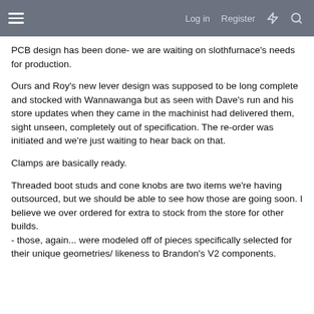Log in  Register
PCB design has been done- we are waiting on slothfurnace's needs for production.
Ours and Roy's new lever design was supposed to be long complete and stocked with Wannawanga but as seen with Dave's run and his store updates when they came in the machinist had delivered them, sight unseen, completely out of specification. The re-order was initiated and we're just waiting to hear back on that.
Clamps are basically ready.
Threaded boot studs and cone knobs are two items we're having outsourced, but we should be able to see how those are going soon. I believe we over ordered for extra to stock from the store for other builds.
- those, again... were modeled off of pieces specifically selected for their unique geometries/ likeness to Brandon's V2 components.